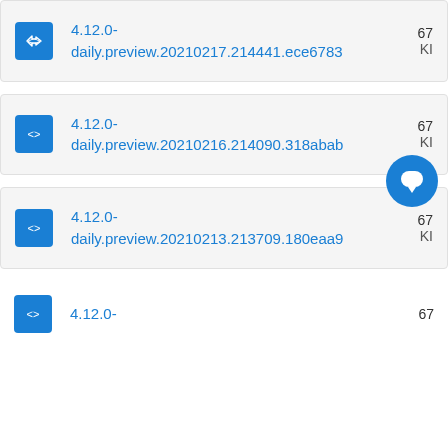4.12.0-daily.preview.20210217.214441.ece6783  67... KB
4.12.0-daily.preview.20210216.214090.318abab  67... KB
4.12.0-daily.preview.20210213.213709.180eaa9  67... KB
4.12.0-  67...